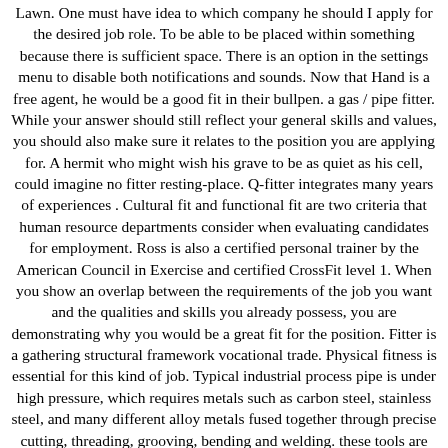Lawn. One must have idea to which company he should I apply for the desired job role. To be able to be placed within something because there is sufficient space. There is an option in the settings menu to disable both notifications and sounds. Now that Hand is a free agent, he would be a good fit in their bullpen. a gas / pipe fitter. While your answer should still reflect your general skills and values, you should also make sure it relates to the position you are applying for. A hermit who might wish his grave to be as quiet as his cell, could imagine no fitter resting-place. Q-fitter integrates many years of experiences . Cultural fit and functional fit are two criteria that human resource departments consider when evaluating candidates for employment. Ross is also a certified personal trainer by the American Council in Exercise and certified CrossFit level 1. When you show an overlap between the requirements of the job you want and the qualities and skills you already possess, you are demonstrating why you would be a great fit for the position. Fitter is a gathering structural framework vocational trade. Physical fitness is essential for this kind of job. Typical industrial process pipe is under high pressure, which requires metals such as carbon steel, stainless steel, and many different alloy metals fused together through precise cutting, threading, grooving, bending and welding. these tools are known as fitter tools. Image … fit in(to) 1. To fit a cat flap onto your door, mark the height of your cat's stomach on the door. It contains a list of ingredients (called variables, which can represent numeric data, text, or images) and a list of directions